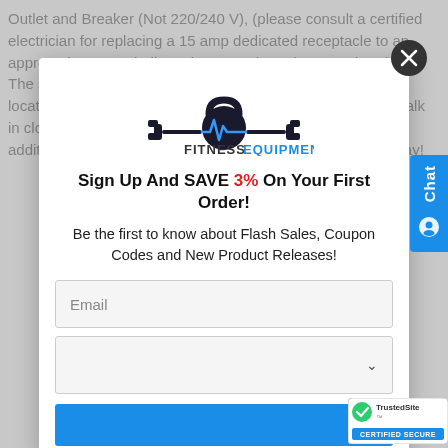Outlet and Breaker (Not 220/240 V), (please consult a certified electrician for replacing a 15 amp dedicated receptacle to an approved 20 amp dedicated receptacle and 20 amp breaker). The sauna may be installed on carpet and at any interior location including the basement, garage, master bedroom walk in closet. Our sauna would be a beautiful and worthwhile addition to any fitness room. See and feel the difference today!
[Figure (logo): Fitness Equipment Now logo with kettlebell and heartbeat graphic]
Sign Up And SAVE 3% On Your First Order!
Be the first to know about Flash Sales, Coupon Codes and New Product Releases!
Email
[Figure (screenshot): TrustedSite Certified Secure badge in bottom right corner]